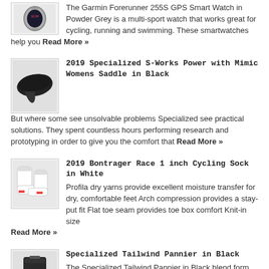[Figure (photo): Garmin Forerunner 255S GPS Smart Watch in Powder Grey - product image]
The Garmin Forerunner 255S GPS Smart Watch in Powder Grey is a multi-sport watch that works great for cycling, running and swimming. These smartwatches help you Read More »
[Figure (photo): 2019 Specialized S-Works Power with Mimic Womens Saddle in Black - product image]
2019 Specialized S-Works Power with Mimic Womens Saddle in Black
But where some see unsolvable problems Specialized see practical solutions. They spent countless hours performing research and prototyping in order to give you the comfort that Read More »
[Figure (photo): 2019 Bontrager Race 1 inch Cycling Sock in White - product image]
2019 Bontrager Race 1 inch Cycling Sock in White
Profila dry yarns provide excellent moisture transfer for dry, comfortable feet Arch compression provides a stay-put fit Flat toe seam provides toe box comfort Knit-in size Read More »
[Figure (photo): Specialized Tailwind Pannier in Black - product image]
Specialized Tailwind Pannier in Black
The Specialized Tailwind Pannier in Black blend form with function. They are aerodynamic reducing drag and battery consumption on electric bikes by up to 6% when